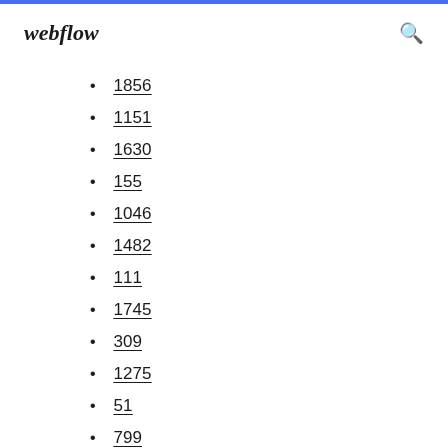webflow
1856
1151
1630
155
1046
1482
111
1745
309
1275
51
799